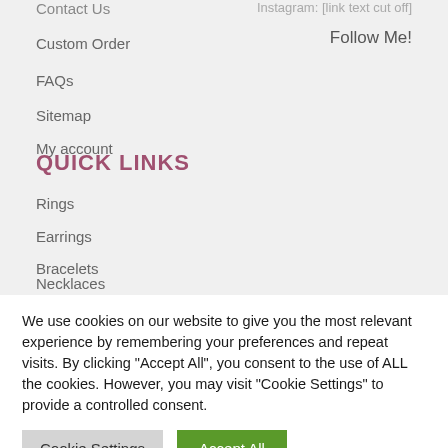Contact Us
Instagram: [url text cut off]
Follow Me!
Custom Order
FAQs
Sitemap
My account
QUICK LINKS
Rings
Earrings
Bracelets
Necklaces
We use cookies on our website to give you the most relevant experience by remembering your preferences and repeat visits. By clicking "Accept All", you consent to the use of ALL the cookies. However, you may visit "Cookie Settings" to provide a controlled consent.